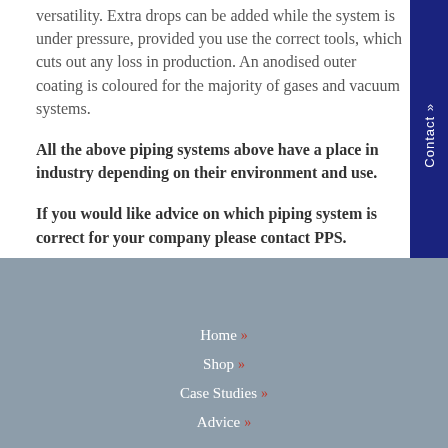versatility. Extra drops can be added while the system is under pressure, provided you use the correct tools, which cuts out any loss in production. An anodised outer coating is coloured for the majority of gases and vacuum systems.
All the above piping systems above have a place in industry depending on their environment and use.
If you would like advice on which piping system is correct for your company please contact PPS.
Home » Shop » Case Studies » Advice »